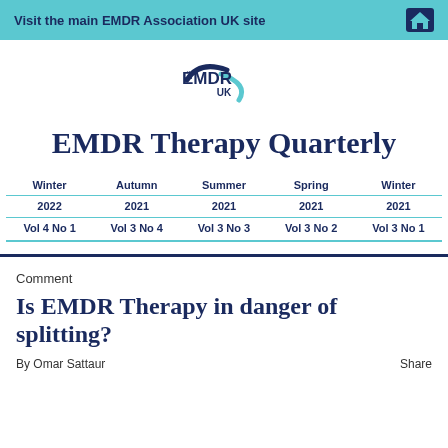Visit the main EMDR Association UK site
[Figure (logo): EMDR UK logo with stylized blue swoosh and text 'EMDR UK']
EMDR Therapy Quarterly
| Season | Year | Volume |
| --- | --- | --- |
| Winter | 2022 | Vol 4 No 1 |
| Autumn | 2021 | Vol 3 No 4 |
| Summer | 2021 | Vol 3 No 3 |
| Spring | 2021 | Vol 3 No 2 |
| Winter | 2021 | Vol 3 No 1 |
Comment
Is EMDR Therapy in danger of splitting?
By Omar Sattaur   Share